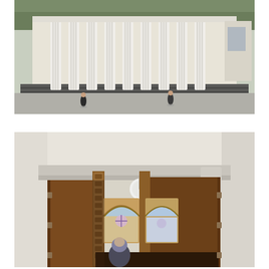[Figure (photo): Aerial or elevated view of a large neoclassical building facade with tall white fluted columns and broad steps. Two people are visible walking on the plaza/pavement in front of the building on a sunny day.]
[Figure (photo): Close-up view of an ornate wooden entrance door of a public building, partly open. The door features intricate carved detailing and arched windows with decorative stained glass. A woman wearing a headscarf is visible standing in the doorway. White columns flank the entrance.]